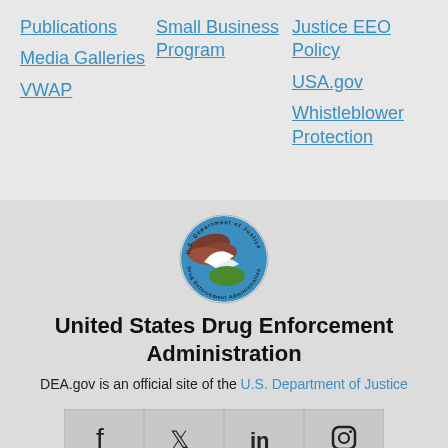Publications
Media Galleries
VWAP
Small Business Program
Justice EEO Policy
USA.gov
Whistleblower Protection
[Figure (logo): U.S. Department of Justice Drug Enforcement Administration circular seal/logo]
United States Drug Enforcement Administration
DEA.gov is an official site of the U.S. Department of Justice